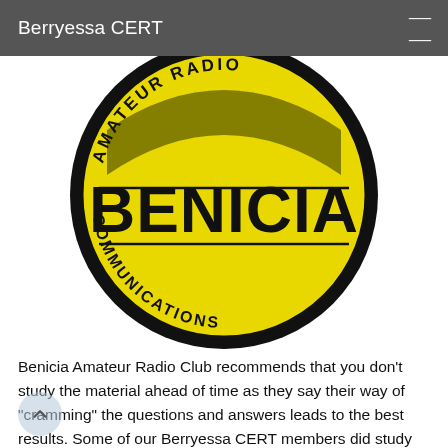Berryessa CERT
[Figure (logo): Benicia Amateur Radio Communications circular logo. Yellow and black round badge with 'AMATEUR RADIO' arced at top, 'BENICIA' in large bold letters across the center, and 'COMMUNICATIONS' arced at the bottom.]
Benicia Amateur Radio Club recommends that you don't study the material ahead of time as they say their way of "cramming" the questions and answers leads to the best results. Some of our Berryessa CERT members did study for weeks ahead of time, myself